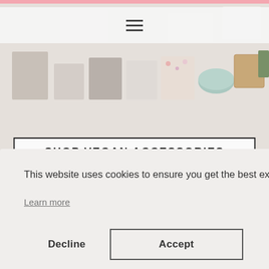[Figure (screenshot): Website screenshot showing vegan accessories shop banner with product containers arranged on a light background]
[Figure (screenshot): Cookie consent modal overlay with close button, informational text, Learn more link, and Decline/Accept buttons]
This website uses cookies to ensure you get the best experience on our website.
Learn more
Decline
Accept
Eye Of Horus Bio Lipsticks Review